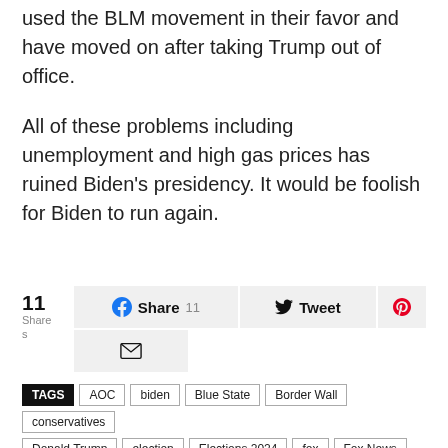used the BLM movement in their favor and have moved on after taking Trump out of office.
All of these problems including unemployment and high gas prices has ruined Biden’s presidency. It would be foolish for Biden to run again.
[Figure (infographic): Social sharing bar with share count (11 Shares), Facebook Share button with count 11, Tweet button, Pinterest button, and Email button.]
TAGS  AOC  biden  Blue State  Border Wall  conservatives  Donald Trump  election  Elections 2024  fox  Fox News